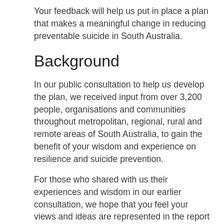Your feedback will help us put in place a plan that makes a meaningful change in reducing preventable suicide in South Australia.
Background
In our public consultation to help us develop the plan, we received input from over 3,200 people, organisations and communities throughout metropolitan, regional, rural and remote areas of South Australia, to gain the benefit of your wisdom and experience on resilience and suicide prevention.
For those who shared with us their experiences and wisdom in our earlier consultation, we hope that you feel your views and ideas are represented in the report and its key themes. We are keen to know if we heard you right.
For those who did not participate in the earlier public consultation, we welcome any feedback on